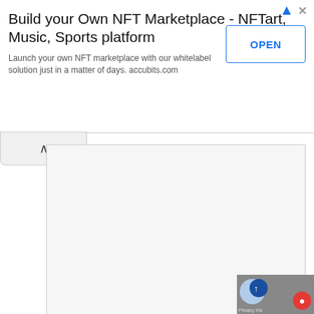[Figure (screenshot): Ad banner for 'Build your Own NFT Marketplace - NFTart, Music, Sports platform' with an OPEN button. Launch your own NFT marketplace with our whitelabel solution just in a matter of days. accubits.com]
Name *
Email *
Website
Save my name, email, and website in this browser for the next time I comment.